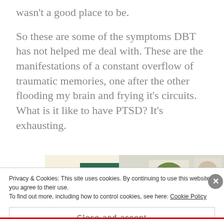wasn't a good place to be.
So these are some of the symptoms DBT has not helped me deal with. These are the manifestations of a constant overflow of traumatic memories, one after the other flooding my brain and frying it's circuits.
What is it like to have PTSD? It's exhausting.
[Figure (screenshot): Advertisement banner with green 'Explore options' button and food images on a beige background]
Privacy & Cookies: This site uses cookies. By continuing to use this website, you agree to their use.
To find out more, including how to control cookies, see here: Cookie Policy
Close and accept